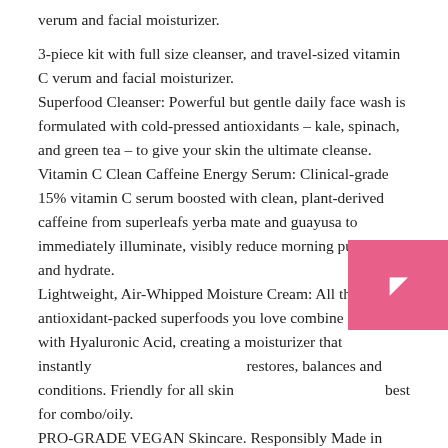verum and facial moisturizer.
3-piece kit with full size cleanser, and travel-sized vitamin C verum and facial moisturizer. Superfood Cleanser: Powerful but gentle daily face wash is formulated with cold-pressed antioxidants – kale, spinach, and green tea – to give your skin the ultimate cleanse. Vitamin C Clean Caffeine Energy Serum: Clinical-grade 15% vitamin C serum boosted with clean, plant-derived caffeine from superleafs yerba mate and guayusa to immediately illuminate, visibly reduce morning puffiness, and hydrate. Lightweight, Air-Whipped Moisture Cream: All the antioxidant-packed superfoods you love combine forces with Hyaluronic Acid, creating a moisturizer that instantly restores, balances and conditions. Friendly for all skin best for combo/oily. PRO-GRADE VEGAN Skincare. Responsibly Made in California. Always Cruelty-Free. No parabens, phthalates